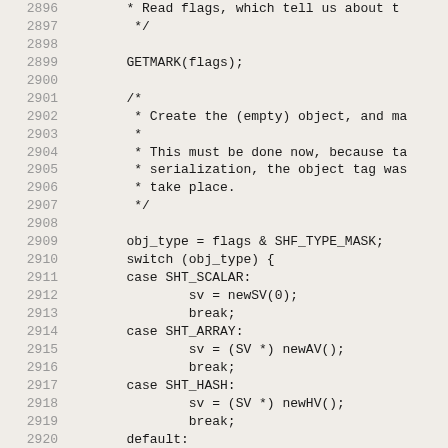Source code listing lines 2896-2927 showing C code with GETMARK, switch statement on obj_type with cases SHT_SCALAR, SHT_ARRAY, SHT_HASH, default, SEEN(sv), and comment about recursion.